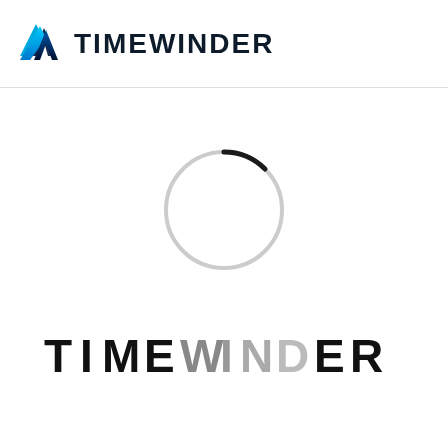[Figure (logo): TIMEWINDER logo: a TW icon in blue/teal gradient on the left, followed by the text TIMEWINDER in dark navy bold font]
[Figure (other): A loading spinner circle — mostly light gray with a small dark arc at the top-left, indicating a loading/progress indicator]
[Figure (logo): TIMEWINDER text logo in large bold letters — TIME in solid black, WINDER in fading gray (letters progressively lighter), with the W in WINDER slightly faded/gray]